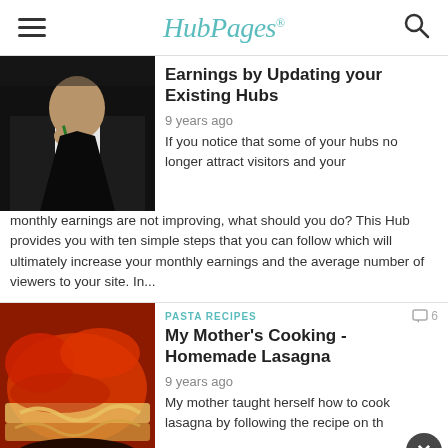HubPages
Earnings by Updating your Existing Hubs
9 years ago
If you notice that some of your hubs no longer attract visitors and your monthly earnings are not improving, what should you do? This Hub provides you with ten simple steps that you can follow which will ultimately increase your monthly earnings and the average number of viewers to your site. In...
PASTA RECIPES
My Mother's Cooking - Homemade Lasagna
9 years ago
My mother taught herself how to cook lasagna by following the recipe on th...